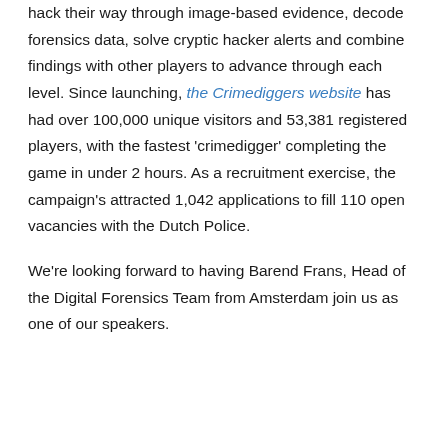hack their way through image-based evidence, decode forensics data, solve cryptic hacker alerts and combine findings with other players to advance through each level. Since launching, the Crimediggers website has had over 100,000 unique visitors and 53,381 registered players, with the fastest 'crimedigger' completing the game in under 2 hours. As a recruitment exercise, the campaign's attracted 1,042 applications to fill 110 open vacancies with the Dutch Police.
We're looking forward to having Barend Frans, Head of the Digital Forensics Team from Amsterdam join us as one of our speakers.